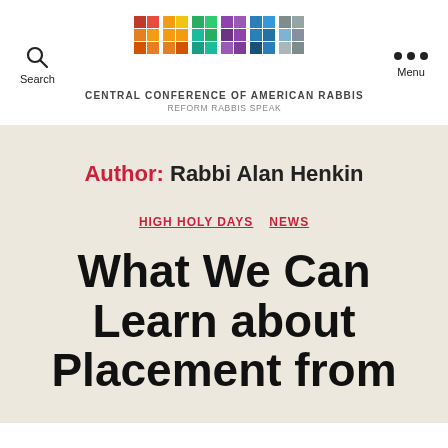[Figure (logo): RAVBLOG colorful mosaic logo with text: CENTRAL CONFERENCE OF AMERICAN RABBIS / REFORM RABBIS SPEAK]
Author: Rabbi Alan Henkin
HIGH HOLY DAYS  NEWS
What We Can Learn about Placement from